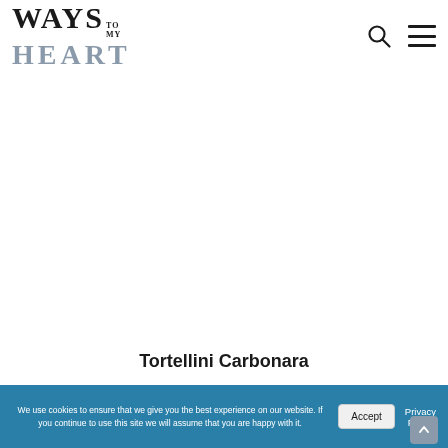WAYS TO MY HEART
Tortellini Carbonara
We use cookies to ensure that we give you the best experience on our website. If you continue to use this site we will assume that you are happy with it.
Accept
Privacy Policy